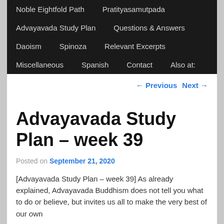Noble Eightfold Path  Pratityasamutpada  Advayavada Study Plan  Questions & Answers  Daoism  Spinoza  Relevant Excerpts  Miscellaneous  Spanish  Contact  Also at:
← Previous   Next →
Advayavada Study Plan – week 39
Posted on September 21, 2020
[Advayavada Study Plan – week 39] As already explained, Advayavada Buddhism does not tell you what to do or believe, but invites us all to make the very best of our own